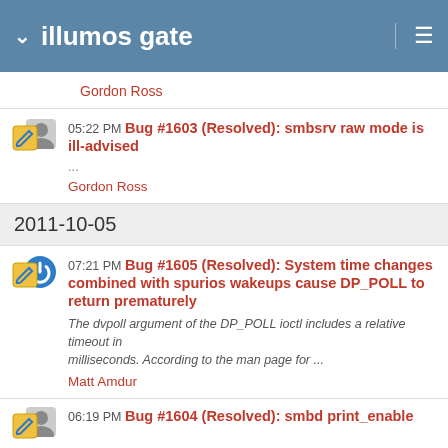illumos gate
Gordon Ross
05:22 PM Bug #1603 (Resolved): smbsrv raw mode is ill-advised ... Gordon Ross
2011-10-05
07:21 PM Bug #1605 (Resolved): System time changes combined with spurios wakeups cause DP_POLL to return prematurely
The dvpoll argument of the DP_POLL ioctl includes a relative timeout in milliseconds. According to the man page for ...
Matt Amdur
06:19 PM Bug #1604 (Resolved): smbd print_enable